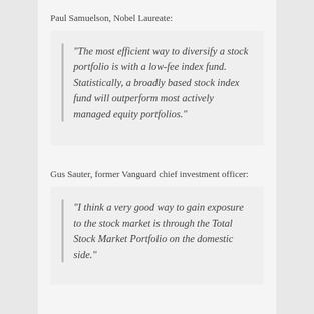Paul Samuelson, Nobel Laureate:
“The most efficient way to diversify a stock portfolio is with a low-fee index fund. Statistically, a broadly based stock index fund will outperform most actively managed equity portfolios.”
Gus Sauter, former Vanguard chief investment officer:
“I think a very good way to gain exposure to the stock market is through the Total Stock Market Portfolio on the domestic side.”